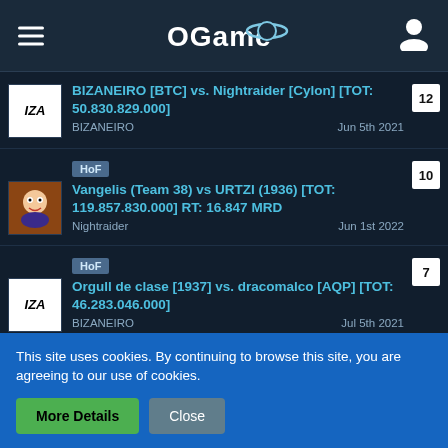OGame
BIZANEIRO [BTC] vs. Nightraider [Cylon] [TOT: 50.830.829.000] | BIZANEIRO | Jun 5th 2021 | count: 12
HoF | Vangelis (Team 38) vs URTZI (1936) [TOT: 119.857.830.000] RT: 16.847 MRD | Nightraider | Jun 1st 2022 | count: 10
HoF | Orgull de clase [1937] vs. dracomalco [AQP] [TOT: 46.283.046.000] | BIZANEIRO | Jul 5th 2021 | count: 7
HoF | (partially visible item) | count: 7
This site uses cookies. By continuing to browse this site, you are agreeing to our use of cookies.